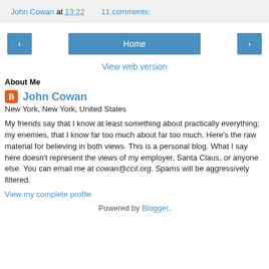John Cowan at 13:22   11 comments:
< Home >  View web version
About Me
John Cowan
New York, New York, United States
My friends say that I know at least something about practically everything; my enemies, that I know far too much about far too much. Here's the raw material for believing in both views. This is a personal blog. What I say here doesn't represent the views of my employer, Santa Claus, or anyone else. You can email me at cowan@ccil.org. Spams will be aggressively filtered.
View my complete profile
Powered by Blogger.